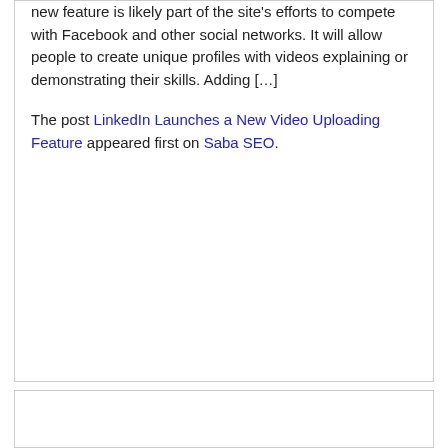new feature is likely part of the site's efforts to compete with Facebook and other social networks. It will allow people to create unique profiles with videos explaining or demonstrating their skills. Adding […]
The post LinkedIn Launches a New Video Uploading Feature appeared first on Saba SEO.